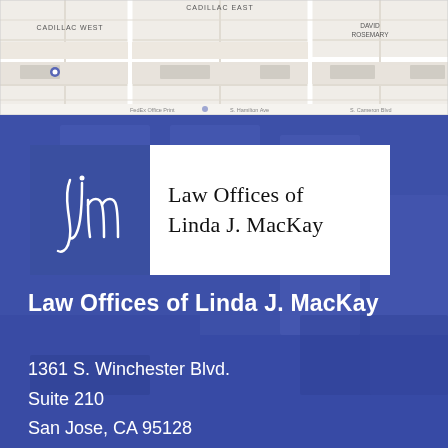[Figure (map): Street map showing area around Cadillac East, Cadillac West, David Rosemary neighborhoods with Google Maps interface]
[Figure (logo): Law Offices of Linda J. MacKay logo: blue square with cursive 'ljm' monogram on left, firm name in serif font on white background on right]
Law Offices of Linda J. MacKay
1361 S. Winchester Blvd.
Suite 210
San Jose, CA 95128